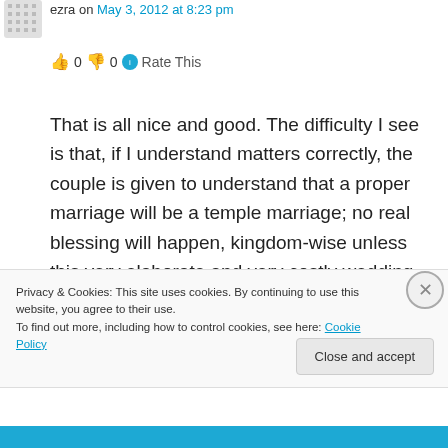[Figure (illustration): Small avatar/gravatar icon in top-left corner]
ezra on May 3, 2012 at 8:23 pm
👍 0 👎 0 ℹ Rate This
That is all nice and good. The difficulty I see is that, if I understand matters correctly, the couple is given to understand that a proper marriage will be a temple marriage; no real blessing will happen, kingdom-wise unless this very elaborate and very costly wedding occurs. Am I right? It sounds like Rome all over again, which, ironically, Smith deplored. If I'm on the right
Privacy & Cookies: This site uses cookies. By continuing to use this website, you agree to their use.
To find out more, including how to control cookies, see here: Cookie Policy
Close and accept